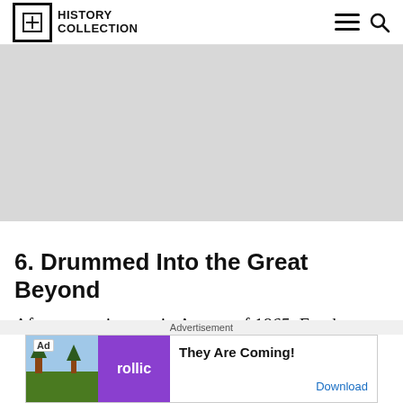History Collection
[Figure (photo): Large gray placeholder image area, likely an article image]
6. Drummed Into the Great Beyond
After mustering out in August of 1865, Frank
[Figure (other): Advertisement banner: 'They Are Coming!' by Rollic with Download button]